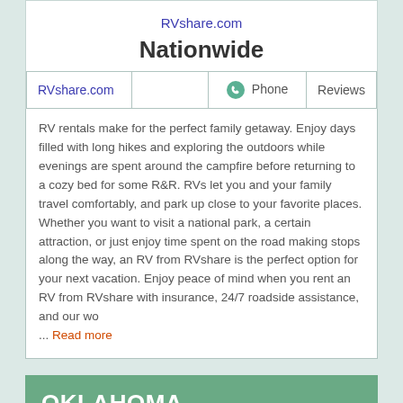RVshare.com
Nationwide
| RVshare.com |  | Phone | Reviews |
| --- | --- | --- | --- |
|  |
RV rentals make for the perfect family getaway. Enjoy days filled with long hikes and exploring the outdoors while evenings are spent around the campfire before returning to a cozy bed for some R&R. RVs let you and your family travel comfortably, and park up close to your favorite places. Whether you want to visit a national park, a certain attraction, or just enjoy time spent on the road making stops along the way, an RV from RVshare is the perfect option for your next vacation. Enjoy peace of mind when you rent an RV from RVshare with insurance, 24/7 roadside assistance, and our wo ... Read more
OKLAHOMA